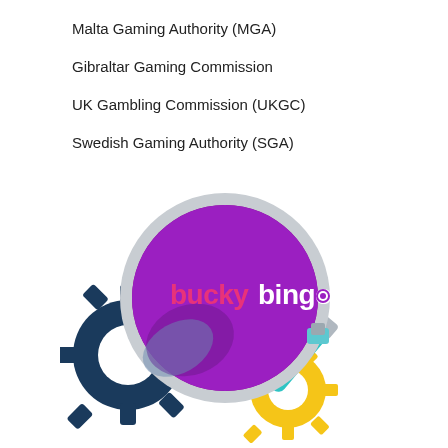Malta Gaming Authority (MGA)
Gibraltar Gaming Commission
UK Gambling Commission (UKGC)
Swedish Gaming Authority (SGA)
[Figure (illustration): Magnifying glass with Bucky Bingo logo (purple circle, pink and white text 'buckybingo'), with a navy blue gear, a yellow gear, and a teal/cyan magnifying glass handle]